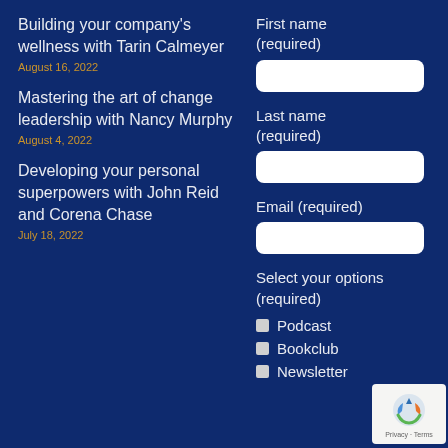Building your company's wellness with Tarin Calmeyer
August 16, 2022
Mastering the art of change leadership with Nancy Murphy
August 4, 2022
Developing your personal superpowers with John Reid and Corena Chase
July 18, 2022
First name (required)
Last name (required)
Email (required)
Select your options (required)
Podcast
Bookclub
Newsletter